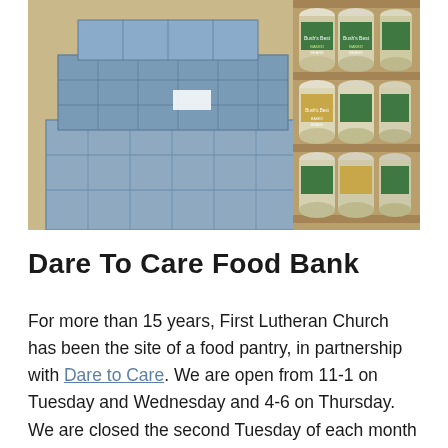[Figure (photo): Photograph of stacked food bank supplies: blue cardboard boxes wrapped in plastic on the left, and cans of beans (green and yellow labeled cans on brown cardboard shelving units) on the right, in a warehouse or storage setting.]
Dare To Care Food Bank
For more than 15 years, First Lutheran Church has been the site of a food pantry, in partnership with Dare to Care. We are open from 11-1 on Tuesday and Wednesday and 4-6 on Thursday. We are closed the second Tuesday of each month for our big...